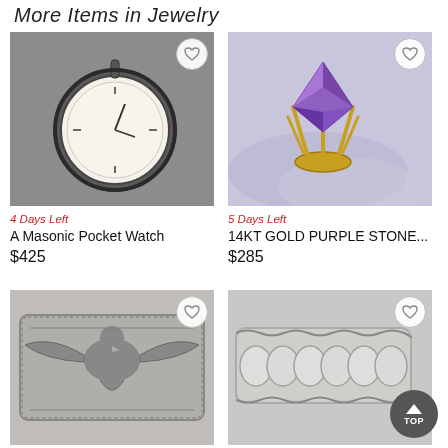More Items in Jewelry
[Figure (photo): A Masonic pocket watch with white dial on grey background]
[Figure (photo): 14KT gold ring with large purple amethyst stone on lavender fabric]
4 Days Left
A Masonic Pocket Watch
$425
5 Days Left
14KT GOLD PURPLE STONE...
$285
[Figure (photo): Silver cuff bracelet with engraved thunderbird/eagle design]
[Figure (photo): Silver cuff bracelet with rounded oval bead design]